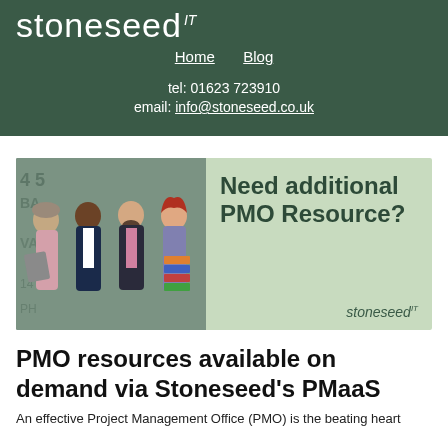stoneseed IT
Home   Blog
tel: 01623 723910
email: info@stoneseed.co.uk
[Figure (illustration): Banner ad with illustrated image of four professionals on the left and text 'Need additional PMO Resource?' on green background on the right, with stoneseed IT logo in corner.]
PMO resources available on demand via Stoneseed's PMaaS
An effective Project Management Office (PMO) is the beating heart